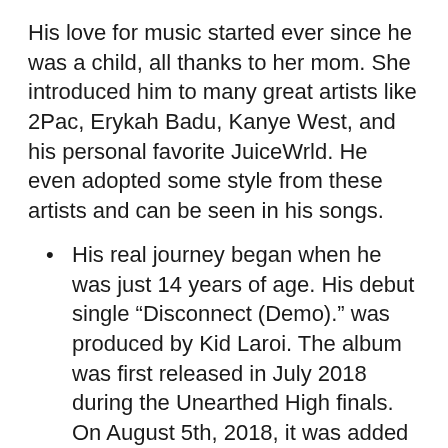His love for music started ever since he was a child, all thanks to her mom. She introduced him to many great artists like 2Pac, Erykah Badu, Kanye West, and his personal favorite JuiceWrld. He even adopted some style from these artists and can be seen in his songs.
His real journey began when he was just 14 years of age. His debut single “Disconnect (Demo).” was produced by Kid Laroi. The album was first released in July 2018 during the Unearthed High finals. On August 5th, 2018, it was added to his SoundCloud profile. Days later, on August 12th, a follow-up single, In My Feelings, was released.